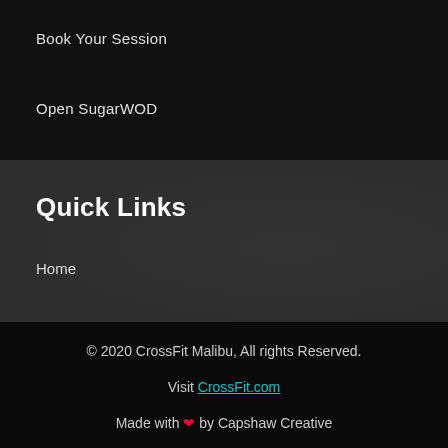Book Your Session
Open SugarWOD
Quick Links
Home
About Us
FAQ
Contact
© 2020 CrossFit Malibu, All rights Reserved.
Visit CrossFit.com
Made with ❤ by Capshaw Creative